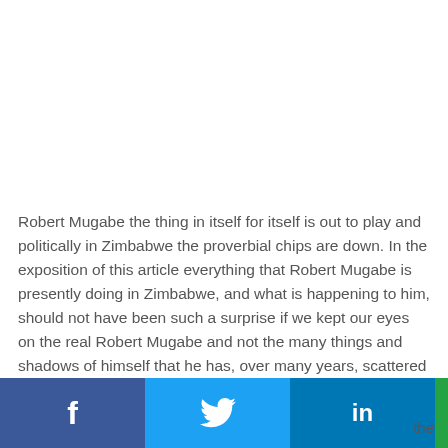Robert Mugabe the thing in itself for itself is out to play and politically in Zimbabwe the proverbial chips are down. In the exposition of this article everything that Robert Mugabe is presently doing in Zimbabwe, and what is happening to him, should not have been such a surprise if we kept our eyes on the real Robert Mugabe and not the many things and shadows of himself that he has, over many years, scattered around to fool and confuse even the circumcised.
[Figure (other): Social sharing bar with icons for Facebook, Twitter, LinkedIn, WhatsApp, SMS, and a More (+) button. Followed by the word 'the' in gray text.]